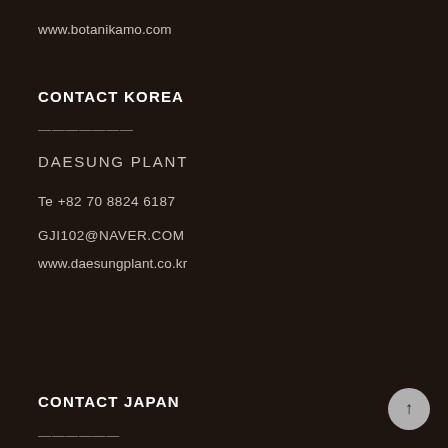www.botanikamo.com
CONTACT KOREA
———————
DAESUNG PLANT
Te  +82 70 8824 6187
GJI102@NAVER.COM
www.daesungplant.co.kr
CONTACT JAPAN
——————